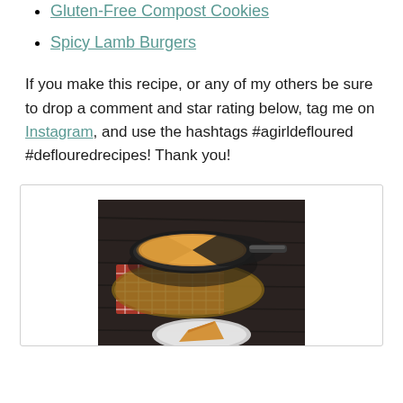Gluten-Free Compost Cookies
Spicy Lamb Burgers
If you make this recipe, or any of my others be sure to drop a comment and star rating below, tag me on Instagram, and use the hashtags #agirldefloured #deflouredrecipes! Thank you!
[Figure (photo): A cast iron skillet with golden-brown cornbread with a slice removed, sitting on a wooden board with a red checkered cloth, on a dark wooden table. A partial plate with a slice of cornbread is visible at the bottom.]